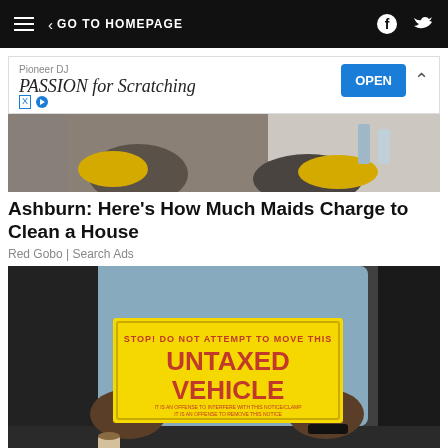GO TO HOMEPAGE
[Figure (photo): Advertisement banner: Pioneer DJ – PASSION for Scratching, with OPEN button]
[Figure (photo): Partial photo of person with yellow gloves, cleaning-related image]
Ashburn: Here's How Much Maids Charge to Clean a House
Red Gobo | Search Ads
[Figure (photo): Person holding yellow sign reading 'STOP! DO NOT ATTEMPT TO MOVE THIS UNTAXED VEHICLE' out of a car window]
Virginia: New Policy For 'Senior Drivers'